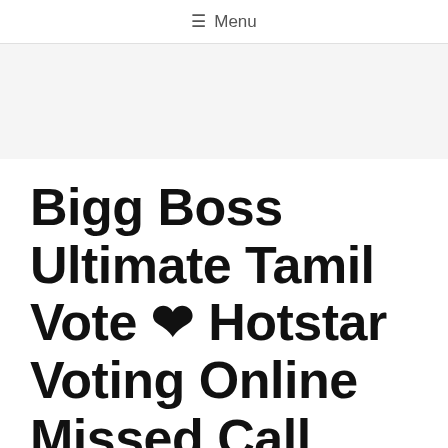≡ Menu
[Figure (other): Advertisement banner area, light gray background]
Bigg Boss Ultimate Tamil Vote ❤ Hotstar Voting Online Missed Call Number Goo...